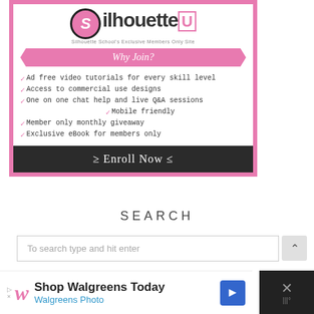[Figure (infographic): Silhouette U membership advertisement banner with pink border, logo, 'Why Join?' ribbon, list of benefits, and dark 'Enroll Now' button]
SEARCH
To search type and hit enter
[Figure (infographic): Walgreens advertisement banner at bottom: 'Shop Walgreens Today / Walgreens Photo' with logo, blue arrow icon, and dark close button]